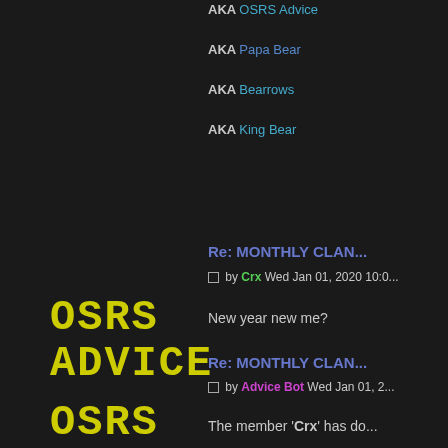AKA OSRS Advice
AKA Papa Bear
AKA Bearrows
AKA King Bear
[Figure (logo): OSRS Advice logo in yellow courier-style font on dark background]
Crx
Posts : 48
Reputation : 4
Join date : 2018-09-20
Re: MONTHLY CLAN...
by Crx Wed Jan 01, 2020 10:0...
New year new me?
Re: MONTHLY CLAN...
by Advice Bot Wed Jan 01, 2...
The member 'Crx' has do...
[Figure (logo): OSRS logo in yellow courier-style font on dark background]